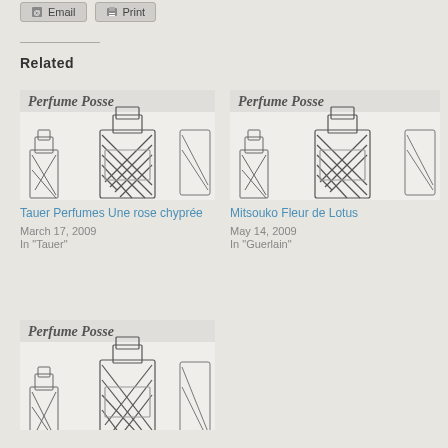Related
[Figure (illustration): Sketch illustration of perfume bottles labeled Perfume Posse]
Tauer Perfumes Une rose chyprée
March 17, 2009
In "Tauer"
[Figure (illustration): Sketch illustration of perfume bottles labeled Perfume Posse]
Mitsouko Fleur de Lotus
May 14, 2009
In "Guerlain"
[Figure (illustration): Sketch illustration of perfume bottles labeled Perfume Posse]